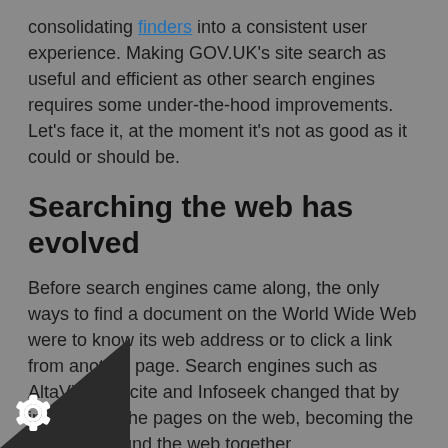consolidating finders into a consistent user experience. Making GOV.UK's site search as useful and efficient as other search engines requires some under-the-hood improvements. Let's face it, at the moment it's not as good as it could or should be.
Searching the web has evolved
Before search engines came along, the only ways to find a document on the World Wide Web were to know its web address or to click a link from another page. Search engines such as AltaVista, Excite and Infoseek changed that by indexing all the pages on the web, becoming the glue that bound the web together.
With an ever-growing collection of documents to index, search engines had to employ new techniques to put the right results in front of users. Then, the birth of Google introduced the idea of ranking results based on relevance.
on the Search and Navigation team is to make sure